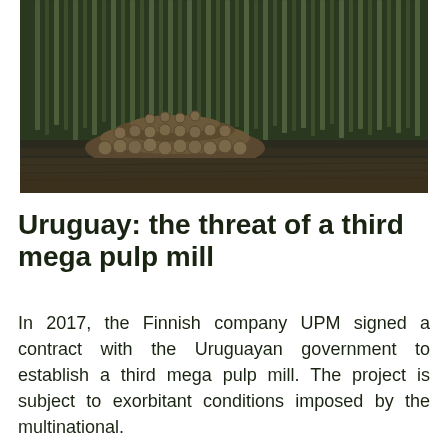[Figure (photo): A forest of tall, thin eucalyptus or pine trees with a large pile of cut logs stacked in front on bare dirt ground. Dark and moody forest scene.]
Uruguay: the threat of a third mega pulp mill
In 2017, the Finnish company UPM signed a contract with the Uruguayan government to establish a third mega pulp mill. The project is subject to exorbitant conditions imposed by the multinational.